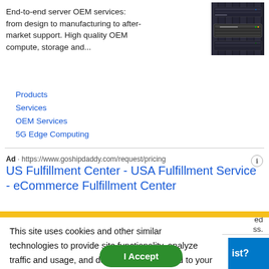End-to-end server OEM services: from design to manufacturing to after-market support. High quality OEM compute, storage and...
[Figure (photo): Photo of a rack-mounted server unit in a data center, dark background with server hardware visible]
Products
Services
OEM Services
5G Edge Computing
Ad · https://www.goshipdaddy.com/request/pricing
US Fulfillment Center - USA Fulfillment Service - eCommerce Fulfillment Center
Talk with our expert fulfillment... #1 3PL in the United States... business.
This site uses cookies and other similar technologies to provide site functionality, analyze traffic and usage, and deliver content tailored to your interests. | Learn More
I Accept